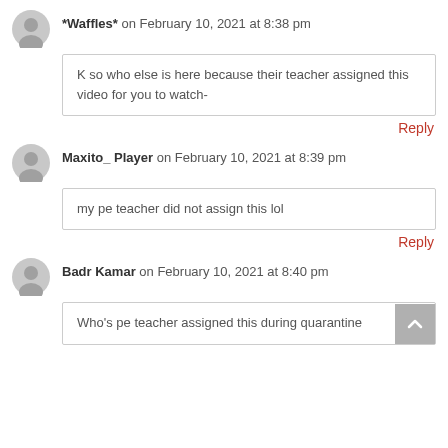*Waffles* on February 10, 2021 at 8:38 pm
K so who else is here because their teacher assigned this video for you to watch-
Reply
Maxito_ Player on February 10, 2021 at 8:39 pm
my pe teacher did not assign this lol
Reply
Badr Kamar on February 10, 2021 at 8:40 pm
Who's pe teacher assigned this during quarantine